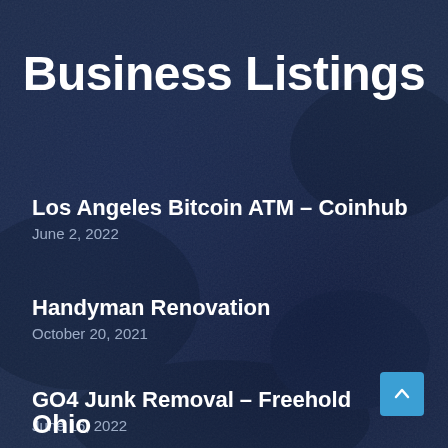Business Listings
Los Angeles Bitcoin ATM – Coinhub
June 2, 2022
Handyman Renovation
October 20, 2021
GO4 Junk Removal – Freehold
June 16, 2022
Ohio